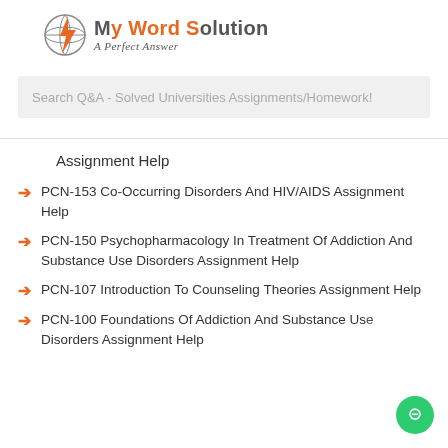[Figure (logo): MyWordSolution logo with lightning bolt icon and tagline 'A Perfect Answer']
Search Q&A - Solved Universities Assignments/Homework!
Assignment Help
PCN-153 Co-Occurring Disorders And HIV/AIDS Assignment Help
PCN-150 Psychopharmacology In Treatment Of Addiction And Substance Use Disorders Assignment Help
PCN-107 Introduction To Counseling Theories Assignment Help
PCN-100 Foundations Of Addiction And Substance Use Disorders Assignment Help